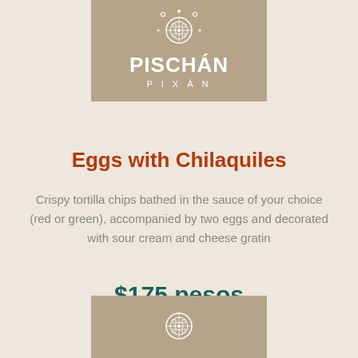[Figure (logo): Pischán Pixán restaurant logo — white decorative circular emblem above the restaurant name on a tan/khaki background banner at the top of the page]
Eggs with Chilaquiles
Crispy tortilla chips bathed in the sauce of your choice (red or green), accompanied by two eggs and decorated with sour cream and cheese gratin
$175 pesos
[Figure (logo): Pischán Pixán restaurant logo — partial white decorative circular emblem on a tan/khaki background banner at the bottom of the page]